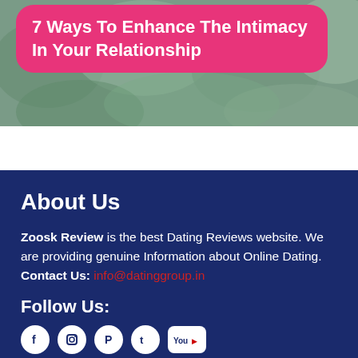[Figure (photo): Background image of foliage/plants with a pink rounded rectangle overlay containing article title text]
7 Ways To Enhance The Intimacy In Your Relationship
About Us
Zoosk Review is the best Dating Reviews website. We are providing genuine Information about Online Dating.
Contact Us:  info@datinggroup.in
Follow Us:
[Figure (infographic): Social media icons: Facebook, Instagram, Pinterest, Twitter, YouTube]